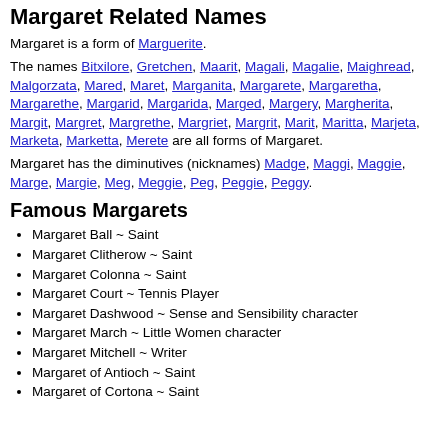Margaret Related Names
Margaret is a form of Marguerite.
The names Bitxilore, Gretchen, Maarit, Magali, Magalie, Maighread, Malgorzata, Mared, Maret, Marganita, Margarete, Margaretha, Margarethe, Margarid, Margarida, Marged, Margery, Margherita, Margit, Margret, Margrethe, Margriet, Margrit, Marit, Maritta, Marjeta, Marketa, Marketta, Merete are all forms of Margaret.
Margaret has the diminutives (nicknames) Madge, Maggi, Maggie, Marge, Margie, Meg, Meggie, Peg, Peggie, Peggy.
Famous Margarets
Margaret Ball ~ Saint
Margaret Clitherow ~ Saint
Margaret Colonna ~ Saint
Margaret Court ~ Tennis Player
Margaret Dashwood ~ Sense and Sensibility character
Margaret March ~ Little Women character
Margaret Mitchell ~ Writer
Margaret of Antioch ~ Saint
Margaret of Cortona ~ Saint